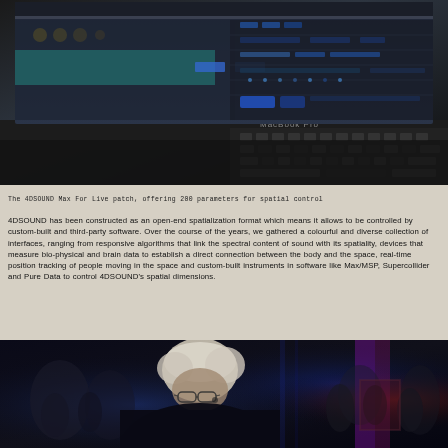[Figure (photo): Close-up photograph of a MacBook Pro laptop screen showing the 4DSOUND Max For Live patch interface with mixing controls, parameters, and a keyboard visible in the foreground. Dark, studio environment.]
The 4DSOUND Max For Live patch, offering 200 parameters for spatial control
4DSOUND has been constructed as an open-end spatialization format which means it allows to be controlled by custom-built and third-party software. Over the course of the years, we gathered a colourful and diverse collection of interfaces, ranging from responsive algorithms that link the spectral content of sound with its spatiality, devices that measure bio-physical and brain data to establish a direct connection between the body and the space, real-time position tracking of people moving in the space and custom-built instruments in software like Max/MSP, Supercollider and Pure Data to control 4DSOUND's spatial dimensions.
[Figure (photo): Dark concert photograph showing a person with white/grey hair and glasses in the foreground, with colorful stage lighting and audience members visible in the background.]